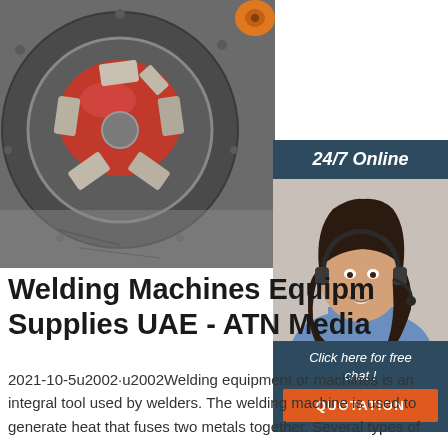[Figure (photo): Close-up photo of a large industrial welding machine chuck/lathe with metallic clamps, red disc visible in center, metallic grey surface with bolts around the rim. Orange spool/roll visible in top-right corner.]
[Figure (photo): Sidebar with dark blue-grey header reading '24/7 Online', photo of a smiling woman with dark hair wearing a headset/microphone in a blue shirt, dark blue-grey footer with italic text 'Click here for free chat!' and an orange button labeled 'QUOTATION'.]
Welding Machines Equipment Supplies UAE - ATN Media
2021-10-5u2002·u2002Welding equipment or machines is an integral tool used by welders. The welding machine is used to generate heat that fuses two metals together. Several types of